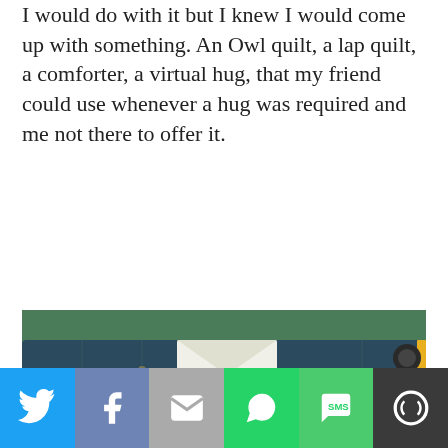I would do with it but I knew I would come up with something. An Owl quilt, a lap quilt, a comforter, a virtual hug, that my friend could use whenever a hug was required and me not there to offer it.
[Figure (photo): Photo of an owl-themed quilt laid on a green cutting mat. The quilt fabric has a dark teal floral background with circular medallions featuring colorful cartoon owls in various poses and colors.]
Social sharing bar with Twitter, Facebook, Email, WhatsApp, SMS, and More buttons